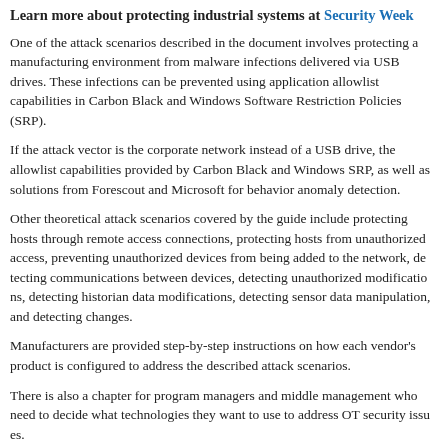Learn more about protecting industrial systems at Security Week
One of the attack scenarios described in the document involves protecting a manufacturing environment from malware infections delivered via USB drives. These infections can be prevented using application allowlist capabilities in Carbon Black and Windows Software Restriction Policies (SRP).
If the attack vector is the corporate network instead of a USB drive, the allowlist capabilities provided by Carbon Black and Windows SRP, as well as solutions from Forescout and Microsoft for behavior anomaly detection.
Other theoretical attack scenarios covered by the guide include protecting hosts through remote access connections, protecting hosts from unauthorized access, preventing unauthorized devices from being added to the network, detecting communications between devices, detecting unauthorized modifications, detecting historian data modifications, detecting sensor data manipulation, and detecting changes.
Manufacturers are provided step-by-step instructions on how each vendor's product is configured to address the described attack scenarios.
There is also a chapter for program managers and middle management who need to decide what technologies they want to use to address OT security issues.
“Organizations that don’t have the time or wherewithal to verify and evaluate technology categories for their use cases will find the output parameters